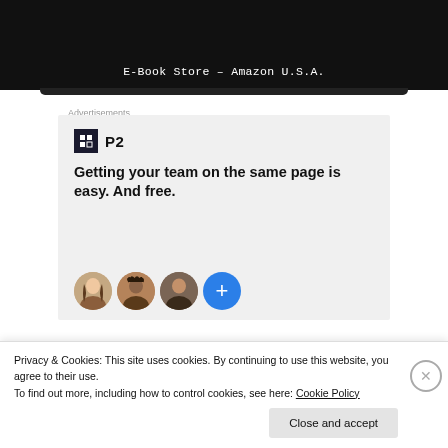[Figure (screenshot): Dark background image showing an E-Book Store on Amazon U.S.A. with white caption text]
E-Book Store – Amazon U.S.A.
Advertisements
[Figure (screenshot): Advertisement for P2 with logo, headline 'Getting your team on the same page is easy. And free.' and circular profile photos with a blue plus button]
Privacy & Cookies: This site uses cookies. By continuing to use this website, you agree to their use.
To find out more, including how to control cookies, see here: Cookie Policy
Close and accept